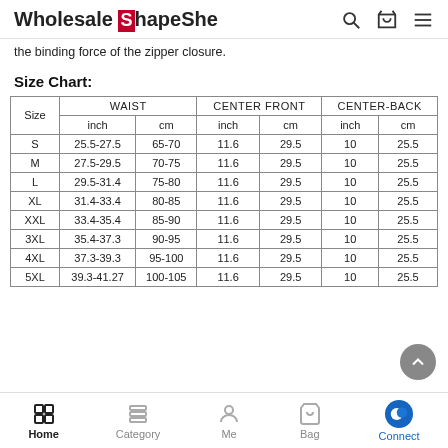Wholesale ShapeShe
the binding force of the zipper closure.
Size Chart:
| Size | WAIST inch | WAIST cm | CENTER FRONT inch | CENTER FRONT cm | CENTER-BACK inch | CENTER-BACK cm |
| --- | --- | --- | --- | --- | --- | --- |
| S | 25.5-27.5 | 65-70 | 11.6 | 29.5 | 10 | 25.5 |
| M | 27.5-29.5 | 70-75 | 11.6 | 29.5 | 10 | 25.5 |
| L | 29.5-31.4 | 75-80 | 11.6 | 29.5 | 10 | 25.5 |
| XL | 31.4-33.4 | 80-85 | 11.6 | 29.5 | 10 | 25.5 |
| XXL | 33.4-35.4 | 85-90 | 11.6 | 29.5 | 10 | 25.5 |
| 3XL | 35.4-37.3 | 90-95 | 11.6 | 29.5 | 10 | 25.5 |
| 4XL | 37.3-39.3 | 95-100 | 11.6 | 29.5 | 10 | 25.5 |
| 5XL | 39.3-41.27 | 100-105 | 11.6 | 29.5 | 10 | 25.5 |
Home  Category  Me  Bag  Connect